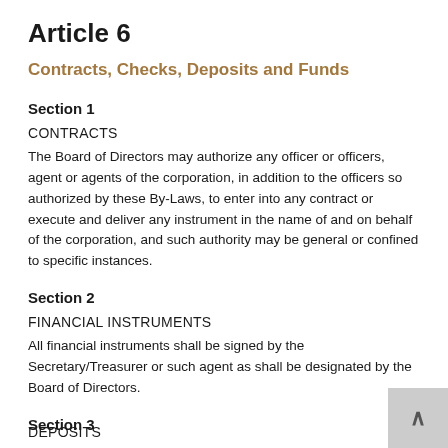Article 6
Contracts, Checks, Deposits and Funds
Section 1
CONTRACTS
The Board of Directors may authorize any officer or officers, agent or agents of the corporation, in addition to the officers so authorized by these By-Laws, to enter into any contract or execute and deliver any instrument in the name of and on behalf of the corporation, and such authority may be general or confined to specific instances.
Section 2
FINANCIAL INSTRUMENTS
All financial instruments shall be signed by the Secretary/Treasurer or such agent as shall be designated by the Board of Directors.
Section 3
DEPOSITS